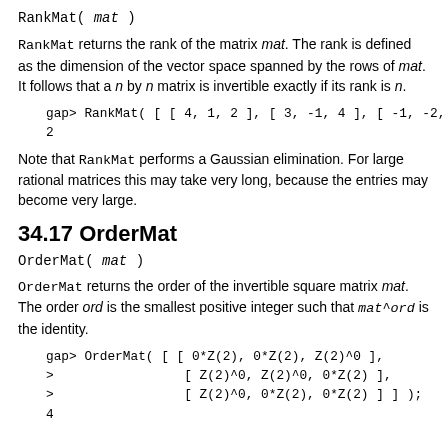RankMat( mat )
RankMat returns the rank of the matrix mat. The rank is defined as the dimension of the vector space spanned by the rows of mat. It follows that a n by n matrix is invertible exactly if its rank is n.
gap> RankMat( [ [ 4, 1, 2 ], [ 3, -1, 4 ], [ -1, -2,
2
Note that RankMat performs a Gaussian elimination. For large rational matrices this may take very long, because the entries may become very large.
34.17 OrderMat
OrderMat( mat )
OrderMat returns the order of the invertible square matrix mat. The order ord is the smallest positive integer such that mat^ord is the identity.
gap> OrderMat( [ [ 0*Z(2), 0*Z(2), Z(2)^0 ],
>                 [ Z(2)^0, Z(2)^0, 0*Z(2) ],
>                 [ Z(2)^0, 0*Z(2), 0*Z(2) ] ] );
4